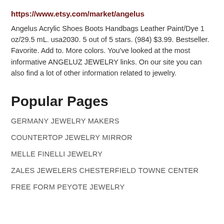https://www.etsy.com/market/angelus
Angelus Acrylic Shoes Boots Handbags Leather Paint/Dye 1 oz/29.5 mL. usa2030. 5 out of 5 stars. (984) $3.99. Bestseller. Favorite. Add to. More colors. You've looked at the most informative ANGELUZ JEWELRY links. On our site you can also find a lot of other information related to jewelry.
Popular Pages
GERMANY JEWELRY MAKERS
COUNTERTOP JEWELRY MIRROR
MELLE FINELLI JEWELRY
ZALES JEWELERS CHESTERFIELD TOWNE CENTER
FREE FORM PEYOTE JEWELRY